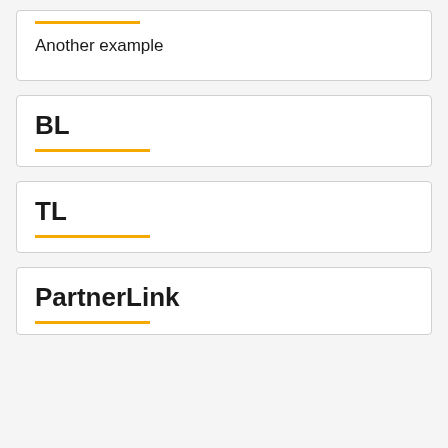Another example
BL
TL
PartnerLink